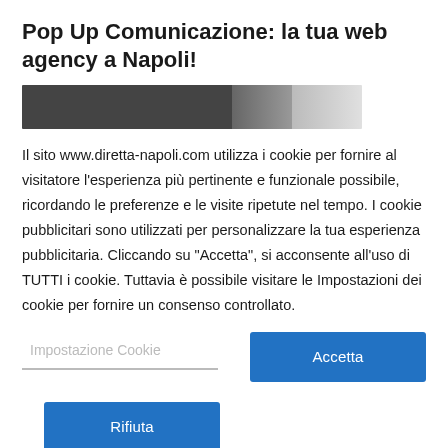Pop Up Comunicazione: la tua web agency a Napoli!
[Figure (photo): Partial image strip showing a dark-to-light gradient photo, likely a person or scene, cropped to a horizontal band.]
Il sito www.diretta-napoli.com utilizza i cookie per fornire al visitatore l'esperienza più pertinente e funzionale possibile, ricordando le preferenze e le visite ripetute nel tempo. I cookie pubblicitari sono utilizzati per personalizzare la tua esperienza pubblicitaria. Cliccando su "Accetta", si acconsente all'uso di TUTTI i cookie. Tuttavia è possibile visitare le Impostazioni dei cookie per fornire un consenso controllato.